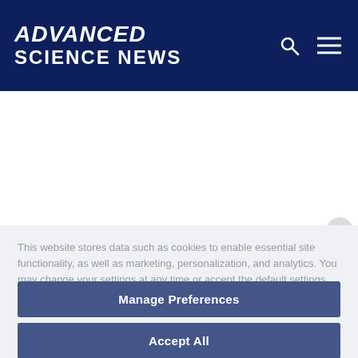ADVANCED SCIENCE NEWS
This website stores data such as cookies to enable essential site functionality, as well as marketing, personalization, and analytics. You may change your settings at any time or accept the default settings. You may close this banner to continue with only essential cookies. Privacy Policy
Manage Preferences
Accept All
Reject All